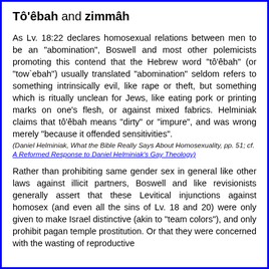Tô'êbah and zimmâh
As Lv. 18:22 declares homosexual relations between men to be an "abomination", Boswell and most other polemicists promoting this contend that the Hebrew word "tô'êbah" (or "tow`ebah") usually translated "abomination" seldom refers to something intrinsically evil, like rape or theft, but something which is ritually unclean for Jews, like eating pork or printing marks on one's flesh, or against mixed fabrics. Helminiak claims that tô'êbah means "dirty" or "impure", and was wrong merely "because it offended sensitivities".
(Daniel Helminiak, What the Bible Really Says About Homosexuality, pp. 51; cf. A Reformed Response to Daniel Helminiak's Gay Theology)
Rather than prohibiting same gender sex in general like other laws against illicit partners, Boswell and like revisionists generally assert that these Levitical injunctions against homosex (and even all the sins of Lv. 18 and 20) were only given to make Israel distinctive (akin to "team colors"), and only prohibit pagan temple prostitution. Or that they were concerned with the wasting of reproductive